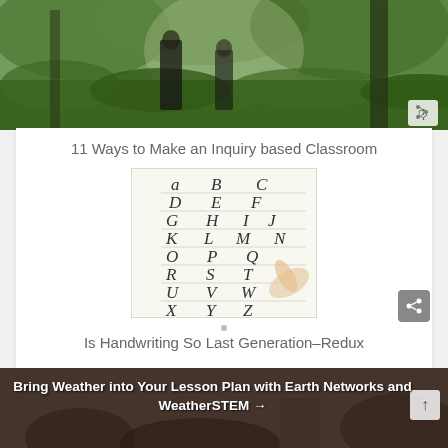[Figure (photo): Outdoor photo of two figures standing in a green forest/nature setting with trees and foliage]
11 Ways to Make an Inquiry based Classroom
[Figure (illustration): Hand-drawn cursive alphabet chart showing letters a-z in cursive style on lined paper, with a hand holding a pen at the bottom right]
Is Handwriting So Last Generation–Redux
[Figure (photo): Bottom background photo showing a classroom or indoor setting]
Bring Weather into Your Lesson Plan with Earth Networks and WeatherSTEM →